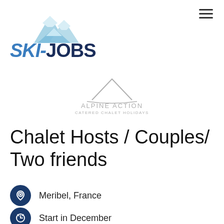[Figure (logo): SKI-JOBS logo with mountain graphic above text. 'SKI-' in blue italic bold, 'JOBS' in dark navy bold, mountain icon with light blue snow peaks above.]
[Figure (logo): Alpine Action logo: grey mountain outline above text 'ALPINE ACTION' in grey caps, subtitle 'CATERED CHALET HOLIDAYS' in smaller grey caps.]
Chalet Hosts / Couples/ Two friends
Meribel, France
Start in December